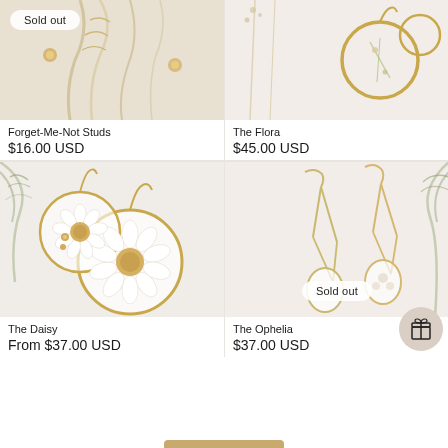[Figure (photo): Forget-Me-Not Studs product image with 'Sold out' badge, dried flowers background]
[Figure (photo): The Flora earrings product image, gold hoop with pressed botanical]
Forget-Me-Not Studs
$16.00 USD
The Flora
$45.00 USD
[Figure (photo): The Daisy earrings product image, circular resin with white daisy]
[Figure (photo): The Ophelia earrings product image with 'Sold out' badge, gold teardrop style]
The Daisy
From $37.00 USD
The Ophelia
$37.00 USD